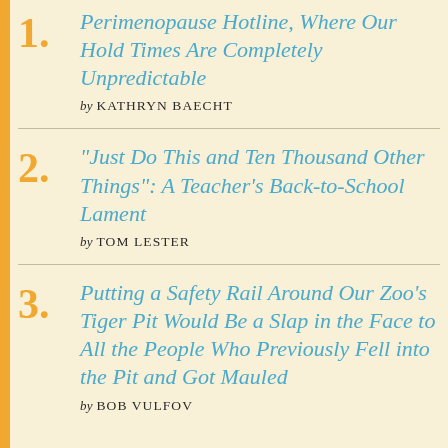1. Perimenopause Hotline, Where Our Hold Times Are Completely Unpredictable by KATHRYN BAECHT
2. “Just Do This and Ten Thousand Other Things”: A Teacher’s Back-to-School Lament by TOM LESTER
3. Putting a Safety Rail Around Our Zoo’s Tiger Pit Would Be a Slap in the Face to All the People Who Previously Fell into the Pit and Got Mauled by BOB VULFOV